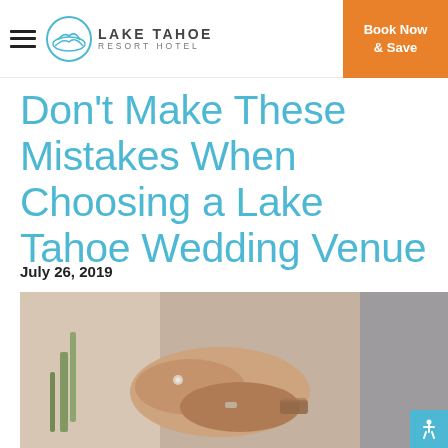Lake Tahoe Resort Hotel — Book Now & Save
Don't Make These Mistakes When Choosing a Lake Tahoe Wedding Venue
July 26, 2019
[Figure (photo): Close-up of a bride and groom holding hands, showing wedding rings, with blurred background of white dress and grey suit]